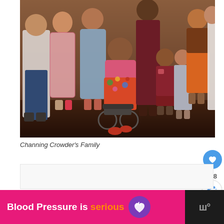[Figure (photo): Group family photo of Channing Crowder's family. Multiple adults and children standing together indoors. A person in a colorful floral outfit is in a wheelchair in the center. Women in pink and blue dresses on left, children in the middle-right, adults in the background.]
Channing Crowder’s Family
[Figure (infographic): Advertisement banner: 'Blood Pressure is serious' in white and orange text on a hot pink background, with a purple heart logo with lightning bolts. Right side shows a dark background with a brand logo resembling 'W' or similar.]